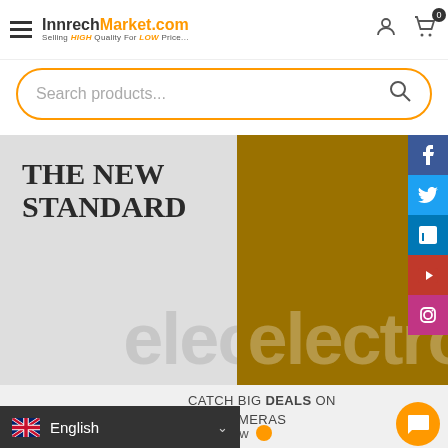[Figure (screenshot): InnrechMarket.com e-commerce website header with hamburger menu, logo, user and cart icons]
[Figure (screenshot): Orange-bordered search bar with placeholder text 'Search products...' and search icon]
[Figure (screenshot): Hero banner split: left grey panel with 'THE NEW STANDARD' text and 'elec' watermark; right dark gold panel with 'electro' watermark. Social sidebar with Facebook, Twitter, LinkedIn, YouTube, Instagram buttons.]
CATCH BIG DEALS ON THE CAMERAS
Shop now
English